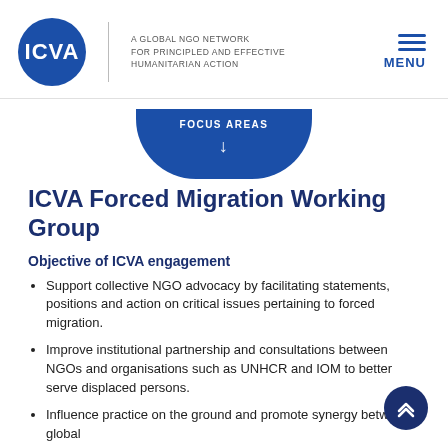ICVA — A GLOBAL NGO NETWORK FOR PRINCIPLED AND EFFECTIVE HUMANITARIAN ACTION — MENU
[Figure (other): FOCUS AREAS badge with down arrow, blue rounded trapezoid shape]
ICVA Forced Migration Working Group
Objective of ICVA engagement
Support collective NGO advocacy by facilitating statements, positions and action on critical issues pertaining to forced migration.
Improve institutional partnership and consultations between NGOs and organisations such as UNHCR and IOM to better serve displaced persons.
Influence practice on the ground and promote synergy between global